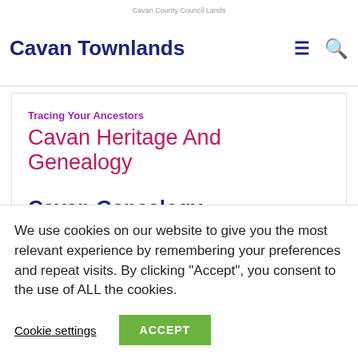Cavan County Council Lands
Cavan Townlands
Tracing Your Ancestors
Cavan Heritage And Genealogy
Cavan Genealogy
Cavan ancestry database holds more than half a million records of baptisms, marriages, burials, census records, pre and post-Famine land records, and numerous other sources.
We use cookies on our website to give you the most relevant experience by remembering your preferences and repeat visits. By clicking “Accept”, you consent to the use of ALL the cookies.
Cookie settings
ACCEPT